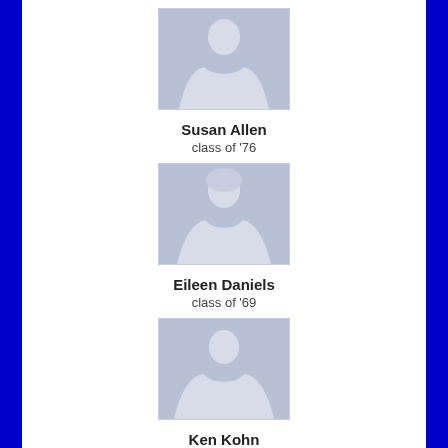[Figure (illustration): Generic female silhouette placeholder avatar with light blue-gray background]
Susan Allen
class of '76
[Figure (illustration): Generic female silhouette placeholder avatar with light blue-gray background]
Eileen Daniels
class of '69
[Figure (illustration): Generic male silhouette placeholder avatar with light blue-gray background]
Ken Kohn
class of '81
[Figure (illustration): Generic male silhouette placeholder avatar with light blue-gray background, partially visible at bottom]